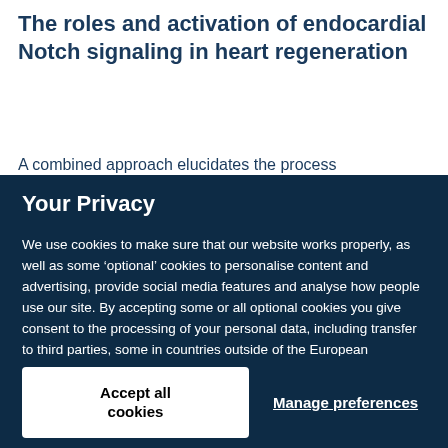The roles and activation of endocardial Notch signaling in heart regeneration
A combined approach elucidates the process
Your Privacy
We use cookies to make sure that our website works properly, as well as some ‘optional’ cookies to personalise content and advertising, provide social media features and analyse how people use our site. By accepting some or all optional cookies you give consent to the processing of your personal data, including transfer to third parties, some in countries outside of the European Economic Area that do not offer the same data protection standards as the country where you live. You can decide which optional cookies to accept by clicking on ‘Manage Settings’, where you can also find more information about how your personal data is processed. Further information can be found in our privacy policy.
Accept all cookies
Manage preferences